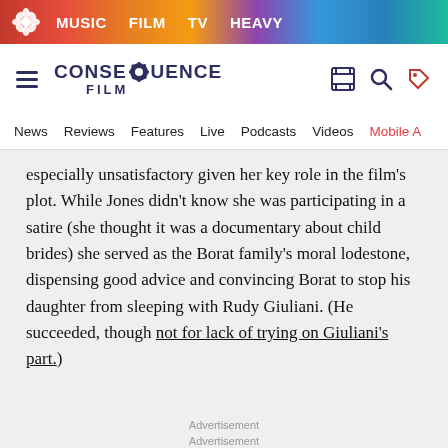MUSIC  FILM  TV  HEAVY
[Figure (logo): Consequence Film logo with gear icon, hamburger menu, search and tag icons]
News  Reviews  Features  Live  Podcasts  Videos  Mobile A
especially unsatisfactory given her key role in the film's plot. While Jones didn't know she was participating in a satire (she thought it was a documentary about child brides) she served as the Borat family's moral lodestone, dispensing good advice and convincing Borat to stop his daughter from sleeping with Rudy Giuliani. (He succeeded, though not for lack of trying on Giuliani's part.)
Advertisement
Advertisement